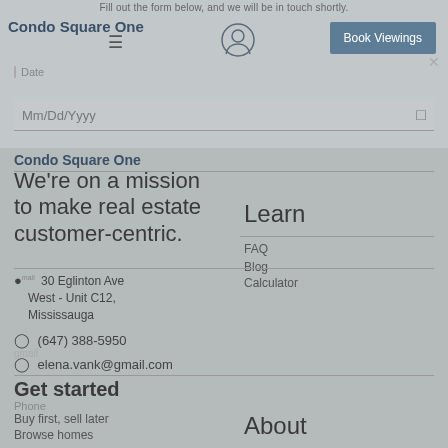Fill out the form below, and we will be in touch shortly.
Condo Square One
☰
Book Viewings
×
Date
Mm/Dd/Yyyy
Condo Square One
We're on a mission to make real estate customer-centric.
Learn
FAQ
Blog
Calculator
30 Eglinton Ave West - Unit C12, Mississauga
(647) 388-5950
elena.vank@gmail.com
Get started
Phone
Buy first, sell later
Browse homes
About